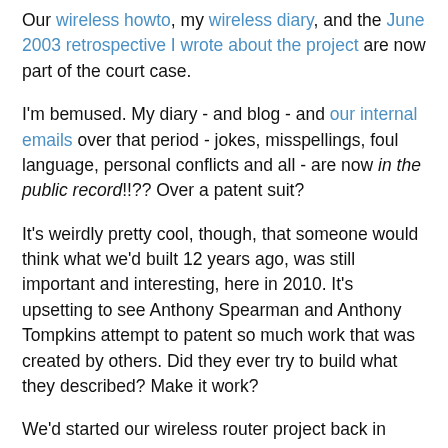Our wireless howto, my wireless diary, and the June 2003 retrospective I wrote about the project are now part of the court case.
I'm bemused. My diary - and blog - and our internal emails over that period - jokes, misspellings, foul language, personal conflicts and all - are now in the public record!!?? Over a patent suit?
It's weirdly pretty cool, though, that someone would think what we'd built 12 years ago, was still important and interesting, here in 2010. It's upsetting to see Anthony Spearman and Anthony Tompkins attempt to patent so much work that was created by others. Did they ever try to build what they described? Make it work?
We'd started our wireless router project back in March of 1998 , and only got around to documenting it after it worked. We'd built the thing out of spare parts, to solve a specific need, and we never once thought about patenting the idea. Not once! We did spend a lot of time trying to figure out